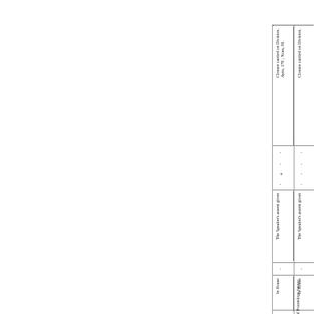15th April
Sir Henry Campbell-Bannerman.
Closure carried on Division. Ayes, 306 ; Noes,
" That the Proceedings on the House (Procedure) Bill be brought to a conclusion as follow—
1. At 10 p.m, on
Question on any Amendment from the Chair, and together with the Question be put by the Government other Am
necessary to dispose of
2. On that day the